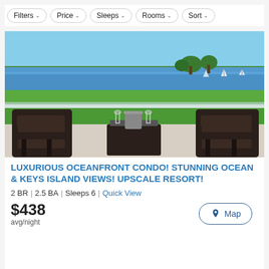Filters | Price | Sleeps | Rooms | Sort
[Figure (photo): Oceanfront balcony with two dark wicker chairs and a small table with wine glasses, overlooking a green lawn and blue ocean with sailboats and trees in the background.]
LUXURIOUS OCEANFRONT CONDO! STUNNING OCEAN & KEYS ISLAND VIEWS! UPSCALE RESORT!
2 BR | 2.5 BA | Sleeps 6 | Quick View
Map
$438
avg/night